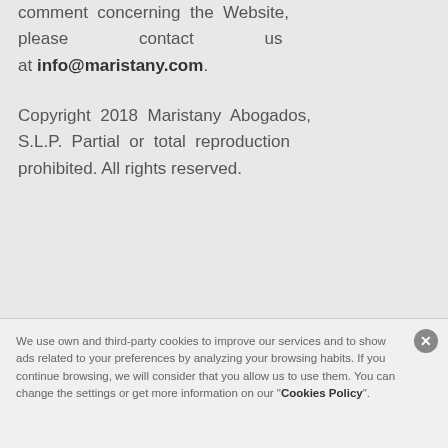comment concerning the Website, please contact us at info@maristany.com.
Copyright 2018 Maristany Abogados, S.L.P. Partial or total reproduction prohibited. All rights reserved.
We use own and third-party cookies to improve our services and to show ads related to your preferences by analyzing your browsing habits. If you continue browsing, we will consider that you allow us to use them. You can change the settings or get more information on our "Cookies Policy".